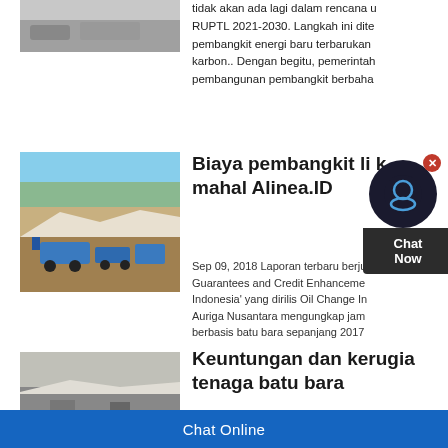[Figure (photo): Gray/white gravel or crushed stone photo at top left (partially visible)]
tidak akan ada lagi dalam rencana u RUPTL 2021-2030. Langkah ini dite pembangkit energi baru terbarukan karbon.. Dengan begitu, pemerintah pembangunan pembangkit berbaha
[Figure (photo): Open pit mining or quarry with blue machinery/equipment and stone walls]
Biaya pembangkit li k mahal Alinea.ID
Sep 09, 2018 Laporan terbaru berjudu Guarantees and Credit Enhanceme Indonesia' yang dirilis Oil Change In Auriga Nusantara mengungkap jam berbasis batu bara sepanjang 2017
[Figure (photo): Quarry or mining site with white stone walls, partially visible]
Keuntungan dan kerugia tenaga batu bara
Chat Online